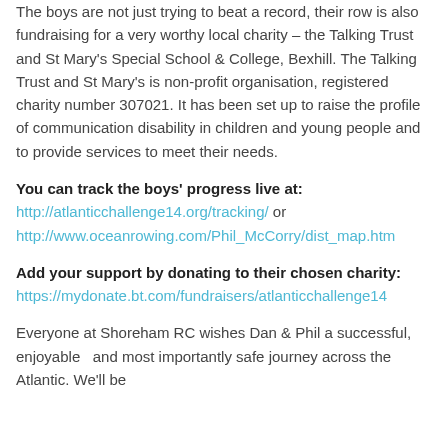The boys are not just trying to beat a record, their row is also fundraising for a very worthy local charity – the Talking Trust and St Mary's Special School & College, Bexhill. The Talking Trust and St Mary's is non-profit organisation, registered charity number 307021. It has been set up to raise the profile of communication disability in children and young people and to provide services to meet their needs.
You can track the boys' progress live at: http://atlanticchallenge14.org/tracking/ or http://www.oceanrowing.com/Phil_McCorry/dist_map.htm
Add your support by donating to their chosen charity: https://mydonate.bt.com/fundraisers/atlanticchallenge14
Everyone at Shoreham RC wishes Dan & Phil a successful, enjoyable  and most importantly safe journey across the Atlantic. We'll be